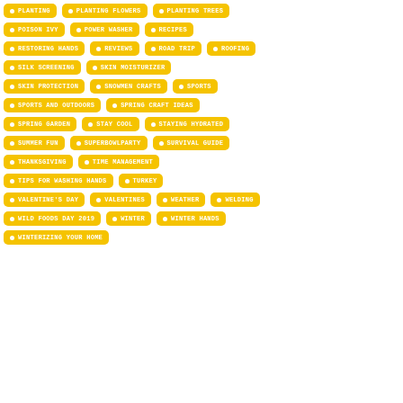PLANTING
PLANTING FLOWERS
PLANTING TREES
POISON IVY
POWER WASHER
RECIPES
RESTORING HANDS
REVIEWS
ROAD TRIP
ROOFING
SILK SCREENING
SKIN MOISTURIZER
SKIN PROTECTION
SNOWMEN CRAFTS
SPORTS
SPORTS AND OUTDOORS
SPRING CRAFT IDEAS
SPRING GARDEN
STAY COOL
STAYING HYDRATED
SUMMER FUN
SUPERBOWLPARTY
SURVIVAL GUIDE
THANKSGIVING
TIME MANAGEMENT
TIPS FOR WASHING HANDS
TURKEY
VALENTINE'S DAY
VALENTINES
WEATHER
WELDING
WILD FOODS DAY 2019
WINTER
WINTER HANDS
WINTERIZING YOUR HOME